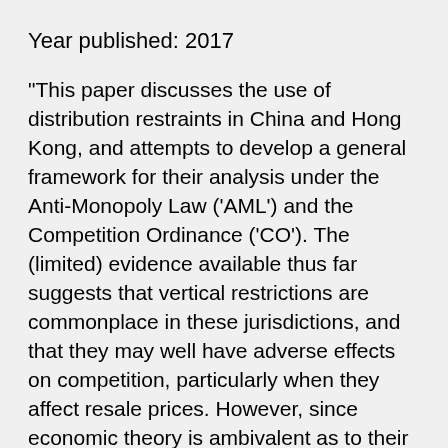Year published: 2017
"This paper discusses the use of distribution restraints in China and Hong Kong, and attempts to develop a general framework for their analysis under the Anti-Monopoly Law ('AML') and the Competition Ordinance ('CO'). The (limited) evidence available thus far suggests that vertical restrictions are commonplace in these jurisdictions, and that they may well have adverse effects on competition, particularly when they affect resale prices. However, since economic theory is ambivalent as to their effects, and they may also serve pro-competitive purposes, the chosen approach must aim to control their potential problems while at the same time leaving room for an assessment of their potential merits and justifications. Such a task requires giving up the establishment of clear principles and 'bright lines' in favour of an effects-based approach, and